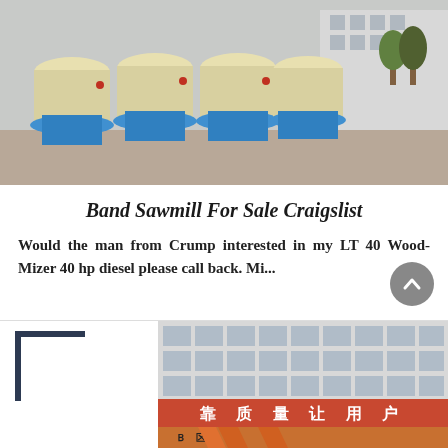[Figure (photo): Row of large industrial cone crusher machines with yellow tops and blue bases, parked on a concrete yard outdoors.]
Band Sawmill For Sale Craigslist
Would the man from Crump interested in my LT 40 Wood-Mizer 40 hp diesel please call back. Mi...
[Figure (photo): Partial view of an industrial facility with a red banner showing Chinese characters, orange machinery at bottom, and a dark blue bracket graphic on left.]